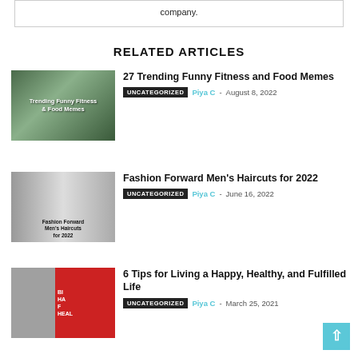company.
RELATED ARTICLES
[Figure (photo): Thumbnail image for 27 Trending Funny Fitness and Food Memes article showing a frog with shoes on grass]
27 Trending Funny Fitness and Food Memes
UNCATEGORIZED   Piya C - August 8, 2022
[Figure (photo): Thumbnail image for Fashion Forward Men's Haircuts for 2022 showing men with stylish haircuts]
Fashion Forward Men's Haircuts for 2022
UNCATEGORIZED   Piya C - June 16, 2022
[Figure (photo): Thumbnail image for 6 Tips for Living a Happy, Healthy, and Fulfilled Life showing a person outdoors with red and text overlay]
6 Tips for Living a Happy, Healthy, and Fulfilled Life
UNCATEGORIZED   Piya C - March 25, 2021